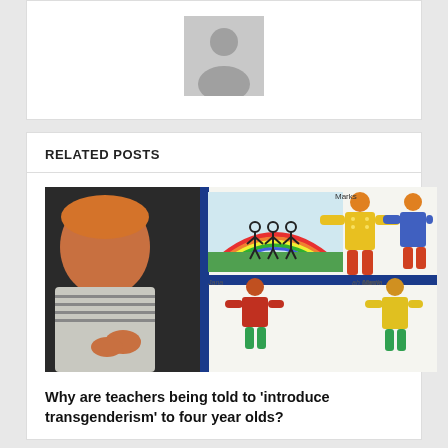[Figure (illustration): Gray user avatar/profile placeholder silhouette on white card background]
RELATED POSTS
[Figure (photo): A child looking at a colorful classroom display board showing painted paper figures of people (a family) with names written, and stick figures, with rainbow artwork. Educational classroom scene related to teaching about families and gender.]
Why are teachers being told to 'introduce transgenderism' to four year olds?